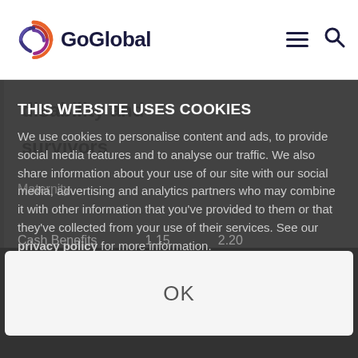[Figure (logo): GoGlobal logo with circular multicolor swoosh icon and bold text 'GoGlobal', plus hamburger menu and search icons on the right]
disability and
survivors
THIS WEBSITE USES COOKIES
We use cookies to personalise content and ads, to provide social media features and to analyse our traffic. We also share information about your use of our site with our social media, advertising and analytics partners who may combine it with other information that you’ve provided to them or that they’ve collected from your use of their services. See our privacy policy for more information.
Cash Benefits   1.15   2.20
Disability
Pensions
OK